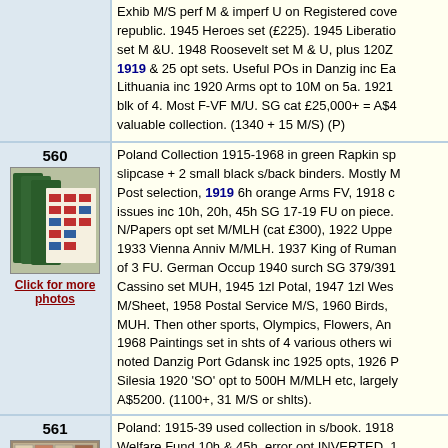| Lot | Description |
| --- | --- |
| (continued) | Exhib M/S perf M & imperf U on Registered cove republic. 1945 Heroes set (£225). 1945 Liberation set M &U. 1948 Roosevelt set M & U, plus 120Z 1919 & 25 opt sets. Useful POs in Danzig inc Ea Lithuania inc 1920 Arms opt to 10M on 5a. 1921 blk of 4. Most F-VF M/U. SG cat £25,000+ = A$4 valuable collection. (1340 + 15 M/S) (P) |
| 560 | Poland Collection 1915-1968 in green Rapkin sp slipcase + 2 small black s/back binders. Mostly M Post selection, 1919 6h orange Arms FV, 1918 c issues inc 10h, 20h, 45h SG 17-19 FU on piece. N/Papers opt set M/MLH (cat £300), 1922 Uppe 1933 Vienna Anniv M/MLH. 1937 King of Ruman of 3 FU. German Occup 1940 surch SG 379/391 Cassino set MUH, 1945 1zl Potal, 1947 1zl We M/Sheet, 1958 Postal Service M/S, 1960 Birds, MUH. Then other sports, Olympics, Flowers, An 1968 Paintings set in shts of 4 various others wi noted Danzig Port Gdansk inc 1925 opts, 1926 Silesia 1920 'SO' opt to 500H M/MLH etc, large A$5200. (1100+, 31 M/S or shlts). |
| 561 | Poland: 1915-39 used collection in s/book. 1918 Welfare Fund 10h & 45h, error opt INVERTED. 1 Feldpost set to 90h (SG cat £110). 1919 Kraków Austria to 1Kr (£2798) inc rare 3h, 5h, 10h, 20h to 1Kr. 1919 South & North Poland sets to 5k & Gniezno Provisional set '5' & '10' (£600). 1921 R 1924 Eagle Inflation set to 2,000,000Mk (£375). |